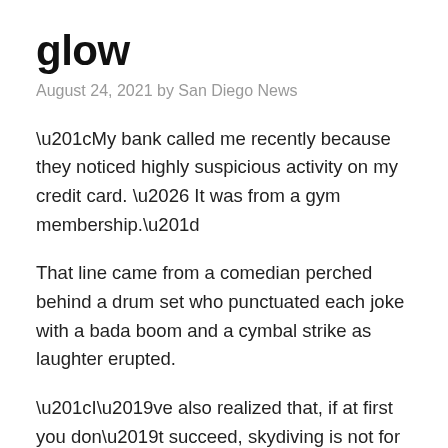glow
August 24, 2021 by San Diego News
“My bank called me recently because they noticed highly suspicious activity on my credit card. … It was from a gym membership.”
That line came from a comedian perched behind a drum set who punctuated each joke with a bada boom and a cymbal strike as laughter erupted.
“I’ve also realized that, if at first you don’t succeed, skydiving is not for you …” Bada boom…